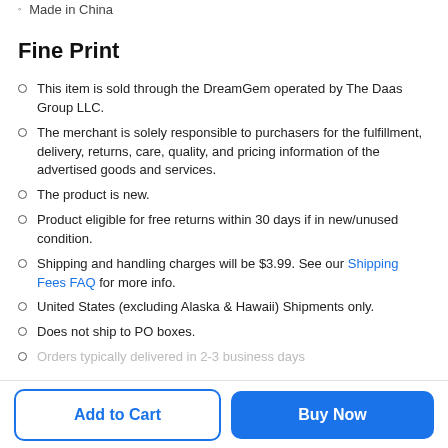Made in China
Fine Print
This item is sold through the DreamGem operated by The Daas Group LLC.
The merchant is solely responsible to purchasers for the fulfillment, delivery, returns, care, quality, and pricing information of the advertised goods and services.
The product is new.
Product eligible for free returns within 30 days if in new/unused condition.
Shipping and handling charges will be $3.99. See our Shipping Fees FAQ for more info.
United States (excluding Alaska & Hawaii) Shipments only.
Does not ship to PO boxes.